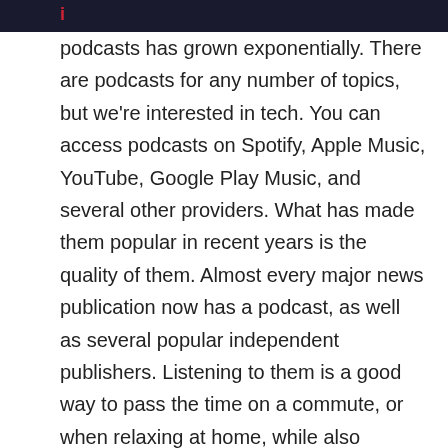i
podcasts has grown exponentially. There are podcasts for any number of topics, but we're interested in tech. You can access podcasts on Spotify, Apple Music, YouTube, Google Play Music, and several other providers. What has made them popular in recent years is the quality of them. Almost every major news publication now has a podcast, as well as several popular independent publishers. Listening to them is a good way to pass the time on a commute, or when relaxing at home, while also learning something new or hearing a compelling story. Outlined below are our favourite tech and business podcasts; let us